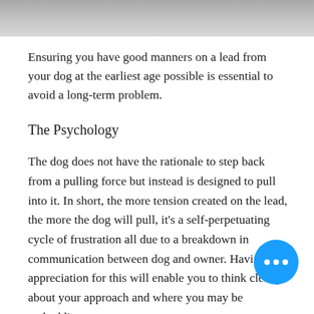[Figure (photo): Top strip of a photo showing a concrete/pavement surface, partially cropped at the top of the page.]
Ensuring you have good manners on a lead from your dog at the earliest age possible is essential to avoid a long-term problem.
The Psychology
The dog does not have the rationale to step back from a pulling force but instead is designed to pull into it. In short, the more tension created on the lead, the more the dog will pull, it's a self-perpetuating cycle of frustration all due to a breakdown in communication between dog and owner. Having an appreciation for this will enable you to think clearly about your approach and where you may be embedding poor